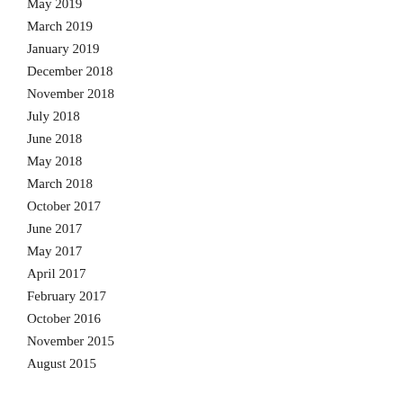May 2019
March 2019
January 2019
December 2018
November 2018
July 2018
June 2018
May 2018
March 2018
October 2017
June 2017
May 2017
April 2017
February 2017
October 2016
November 2015
August 2015